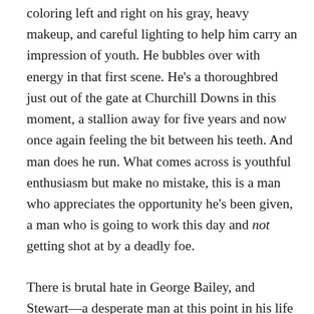coloring left and right on his gray, heavy makeup, and careful lighting to help him carry an impression of youth. He bubbles over with energy in that first scene. He's a thoroughbred just out of the gate at Churchill Downs in this moment, a stallion away for five years and now once again feeling the bit between his teeth. And man does he run. What comes across is youthful enthusiasm but make no mistake, this is a man who appreciates the opportunity he's been given, a man who is going to work this day and not getting shot at by a deadly foe.
There is brutal hate in George Bailey, and Stewart—a desperate man at this point in his life—finds that vibe easily, as when he goes to Mary's house and berates her for showing romantic interest in him and accuses her of trying to tie him down. What did Mary ever do but love this man, and he all but wipes his shoes on her. Jim Stewart's